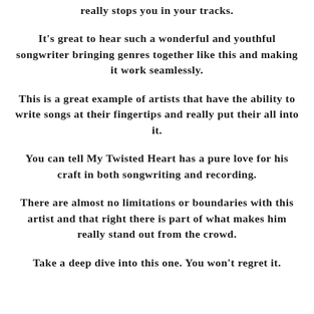really stops you in your tracks.
It's great to hear such a wonderful and youthful songwriter bringing genres together like this and making it work seamlessly.
This is a great example of artists that have the ability to write songs at their fingertips and really put their all into it.
You can tell My Twisted Heart has a pure love for his craft in both songwriting and recording.
There are almost no limitations or boundaries with this artist and that right there is part of what makes him really stand out from the crowd.
Take a deep dive into this one. You won't regret it.